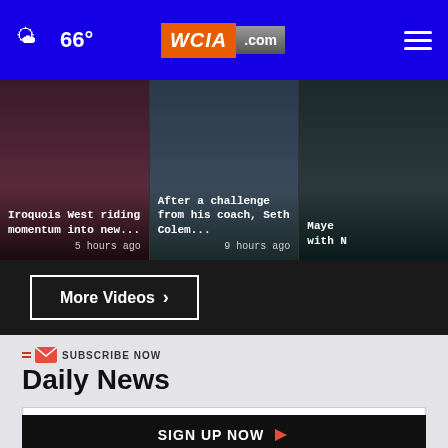66° WCIA.com
[Figure (screenshot): Video card: Iroquois West riding momentum into new... 5 hours ago]
[Figure (screenshot): Video card: After a challenge from his coach, Seth Colem... 9 hours ago]
[Figure (screenshot): Video card: Mayer with N... (partially visible)]
More Videos >
SUBSCRIBE NOW
Daily News
Your email
SIGN UP NOW >